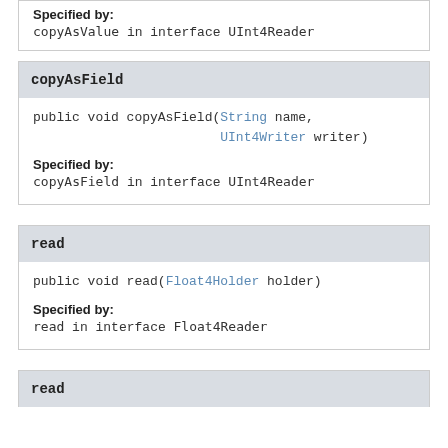Specified by:
copyAsValue in interface UInt4Reader
copyAsField
public void copyAsField(String name,
                        UInt4Writer writer)
Specified by:
copyAsField in interface UInt4Reader
read
public void read(Float4Holder holder)
Specified by:
read in interface Float4Reader
read